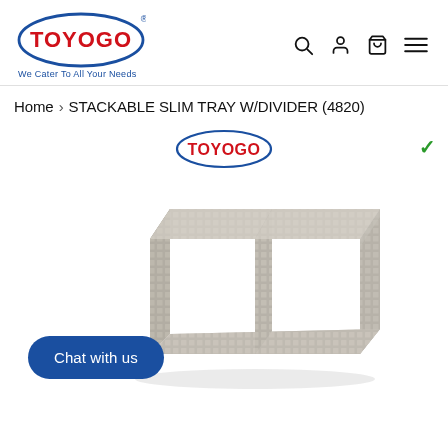[Figure (logo): TOYOGO logo — red text inside blue oval border with tagline 'We Cater To All Your Needs']
[Figure (other): Navigation icons: search (magnifier), account (person), cart (bag), menu (hamburger)]
Home › STACKABLE SLIM TRAY W/DIVIDER (4820)
[Figure (logo): Small TOYOGO logo badge — red text inside blue oval border]
[Figure (photo): Gray plastic stackable slim tray with divider (product 4820), photographed at an angle showing mesh/grid pattern sides and two compartments separated by a center divider]
Chat with us